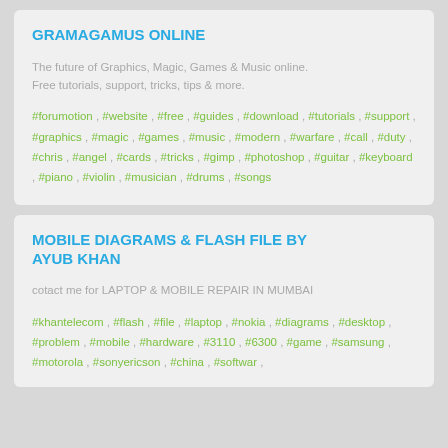GRAMAGAMUS ONLINE
The future of Graphics, Magic, Games & Music online. Free tutorials, support, tricks, tips & more.
#forumotion , #website , #free , #guides , #download , #tutorials , #support , #graphics , #magic , #games , #music , #modern , #warfare , #call , #duty , #chris , #angel , #cards , #tricks , #gimp , #photoshop , #guitar , #keyboard , #piano , #violin , #musician , #drums , #songs
MOBILE DIAGRAMS & FLASH FILE BY AYUB KHAN
cotact me for LAPTOP & MOBILE REPAIR IN MUMBAI
#khantelecom , #flash , #file , #laptop , #nokia , #diagrams , #desktop , #problem , #mobile , #hardware , #3110 , #6300 , #game , #samsung , #motorola , #sonyericson , #china , #softwar